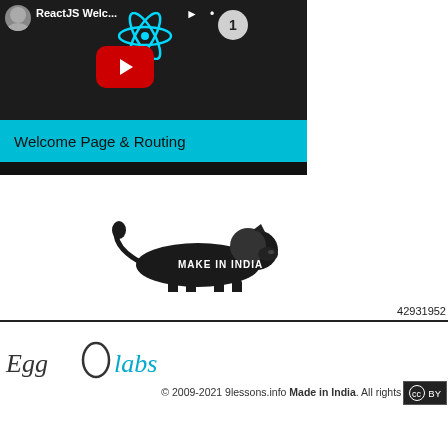[Figure (screenshot): YouTube video thumbnail showing a React tutorial titled 'Welcome Page & Routing' with a cyan bar, React logo, play button, and badge showing '1']
[Figure (logo): Make in India logo showing a lion silhouette with 'MAKE IN INDIA' text]
42931952
[Figure (logo): Egg labs logo with egg icon and colored text]
© 2009-2021 9lessons.info Made in India. All rights reserved the content is copyrighted to Srinivas Tamada - Advertise -